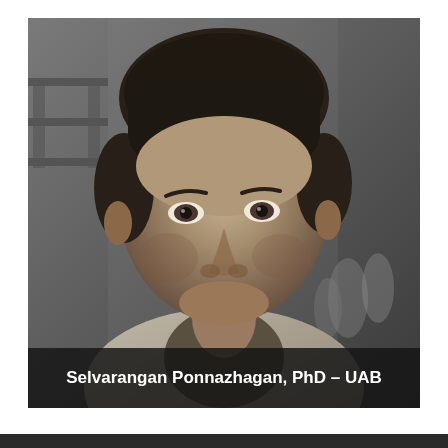[Figure (photo): Black and white portrait photograph of Selvarangan Ponnazhagan, PhD, a middle-aged man of South Asian descent, wearing a collared shirt, with a blurred laboratory background. White text caption overlay at the bottom reads: Selvarangan Ponnazhagan, PhD – UAB.]
Selvarangan Ponnazhagan, PhD – UAB